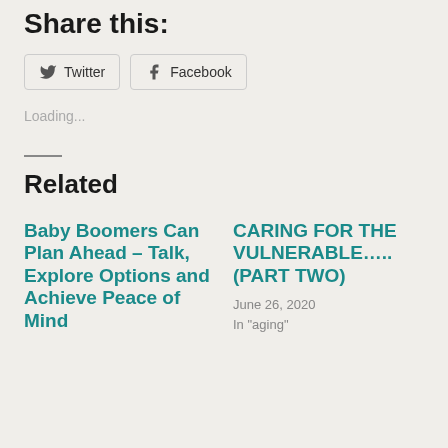Share this:
[Figure (other): Social share buttons: Twitter and Facebook]
Loading...
Related
Baby Boomers Can Plan Ahead – Talk, Explore Options and Achieve Peace of Mind
CARING FOR THE VULNERABLE….. (PART TWO)
June 26, 2020
In "aging"